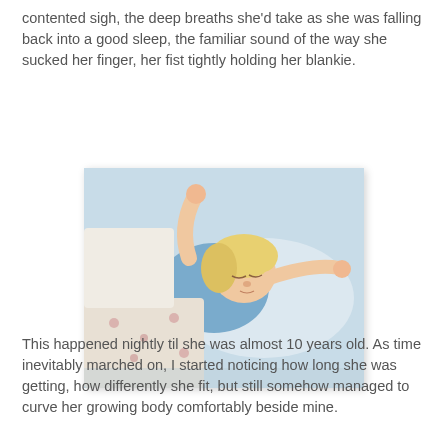contented sigh, the deep breaths she'd take as she was falling back into a good sleep, the familiar sound of the way she sucked her finger, her fist tightly holding her blankie.
[Figure (photo): A young blonde toddler sleeping peacefully in bed, wearing a blue top, with arms raised, surrounded by soft bedding and a floral patterned blanket.]
This happened nightly til she was almost 10 years old. As time inevitably marched on, I started noticing how long she was getting, how differently she fit, but still somehow managed to curve her growing body comfortably beside mine.